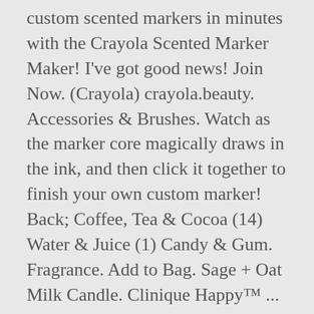custom scented markers in minutes with the Crayola Scented Marker Maker! I've got good news! Join Now. (Crayola) crayola.beauty. Accessories & Brushes. Watch as the marker core magically draws in the ink, and then click it together to finish your own custom marker! Back; Coffee, Tea & Cocoa (14) Water & Juice (1) Candy & Gum. Fragrance. Add to Bag. Sage + Oat Milk Candle. Clinique Happy™ ... Crayola 'strongly discourage' new pencil make-up craze May 22, 2015 - 16:09 BST hellomagazine.com Crayola have advised people to stop using their pencils as make-up. It's really just such a shame because this could ... For decades, kids — and adults — have relied on Crayola products for arts, crafts, school